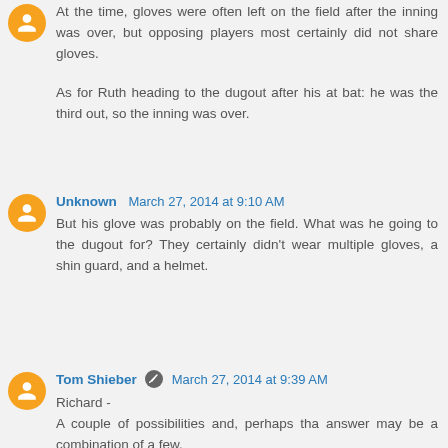At the time, gloves were often left on the field after the inning was over, but opposing players most certainly did not share gloves.

As for Ruth heading to the dugout after his at bat: he was the third out, so the inning was over.
Unknown  March 27, 2014 at 9:10 AM
But his glove was probably on the field. What was he going to the dugout for? They certainly didn't wear multiple gloves, a shin guard, and a helmet.
Tom Shieber  March 27, 2014 at 9:39 AM
Richard -
A couple of possibilities and, perhaps tha answer may be a combination of a few.
First, not all players left their gloves on the field.
Second, Ruth was removed from the game at